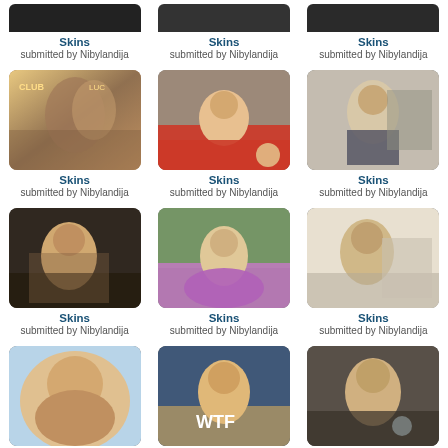[Figure (photo): Grid of thumbnail photos each labeled Skins submitted by Nibylandija]
Skins
submitted by Nibylandija
Skins
submitted by Nibylandija
Skins
submitted by Nibylandija
Skins
submitted by Nibylandija
Skins
submitted by Nibylandija
Skins
submitted by Nibylandija
Skins
submitted by Nibylandija
Skins
submitted by Nibylandija
Skins
submitted by Nibylandija
Skins
submitted by Nibylandija
Skins
submitted by Nibylandija
Skins
submitted by Nibylandija